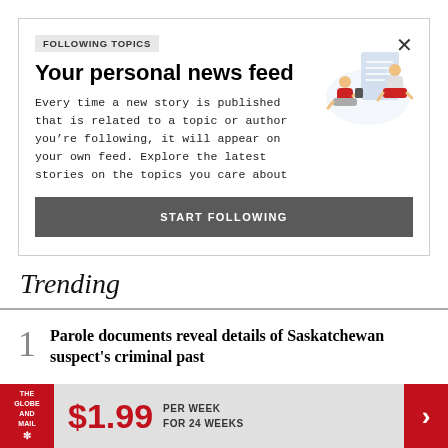FOLLOWING TOPICS
Your personal news feed
Every time a new story is published that is related to a topic or author you’re following, it will appear on your own feed. Explore the latest stories on the topics you care about
[Figure (illustration): Two people sitting and using devices, reading news]
START FOLLOWING
Trending
1  Parole documents reveal details of Saskatchewan suspect’s criminal past
[Figure (logo): The Globe and Mail logo with red maple leaf]
$1.99  PER WEEK FOR 24 WEEKS